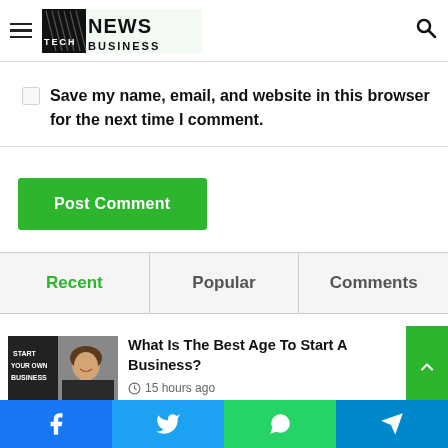Tech News Business - logo and navigation header
Save my name, email, and website in this browser for the next time I comment.
Post Comment
Recent | Popular | Comments
What Is The Best Age To Start A Business?
15 hours ago
Facebook | Twitter | WhatsApp | Telegram